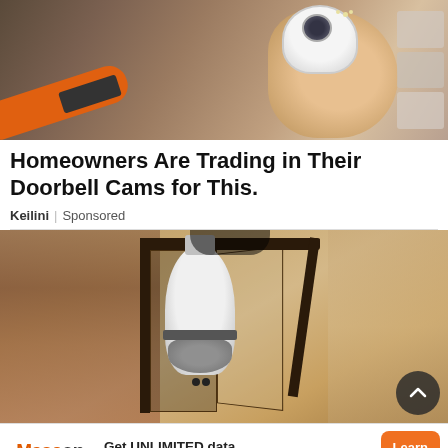[Figure (photo): Hand holding a white security camera/doorbell cam with an orange power drill visible in bottom left, against a dark background]
Homeowners Are Trading in Their Doorbell Cams for This.
Keilini | Sponsored
[Figure (photo): Close-up photo of a black outdoor wall lantern/light fixture with a white security camera bulb installed inside it, mounted on a textured stucco wall. A scroll-to-top button is visible in bottom right.]
[Figure (infographic): Mascon by TELUS advertisement banner: Get UNLIMITED data and save up to $410!* with Learn More orange button]